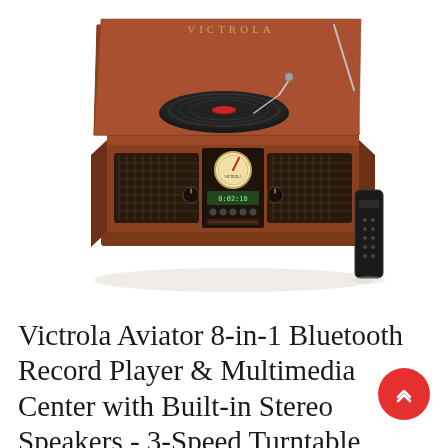[Figure (photo): Victrola Aviator 8-in-1 Bluetooth Record Player and Multimedia Center — a vintage-style wooden cabinet with turntable lid open, dual mesh speakers, analog dial, LCD display, CD slot, remote control beside it, on white background.]
Victrola Aviator 8-in-1 Bluetooth Record Player & Multimedia Center with Built-in Stereo Speakers - 3-Speed Turntable, Vinyl to MP3 Recording, Wireless Music